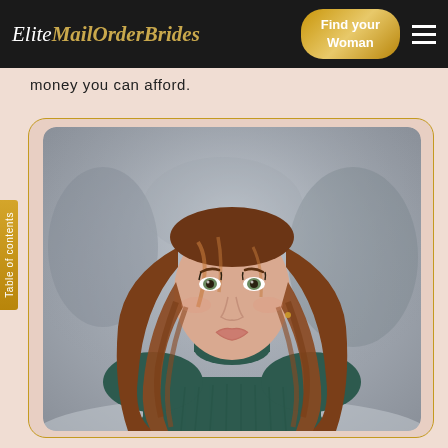Elite MailOrderBrides — Find your Woman
money you can afford.
[Figure (photo): Portrait photo of a young woman with long auburn/brown wavy hair, wearing a dark teal turtleneck sweater, set against a blurred outdoor winter background.]
Table of contents